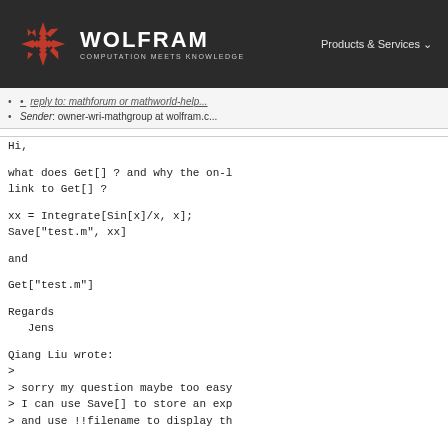[Figure (logo): Wolfram logo with red snowflake/asterisk icon and text WOLFRAM COMPUTATION MEETS KNOWLEDGE on dark background, with Products & Services navigation]
Sender: owner-wri-mathgroup at wolfram.c...
Hi,

what does Get[] ? and why the on-l
link to Get[] ?

xx = Integrate[Sin[x]/x, x];
Save["test.m", xx]

and

Get["test.m"]

Regards
   Jens

Qiang Liu wrote:
>
> sorry my question maybe too easy
> I can use Save[] to store an exp
> and use !!filename to display th